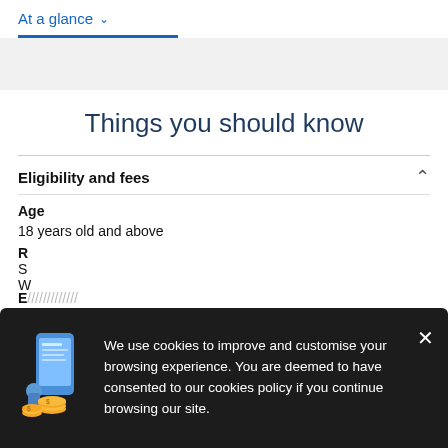At a glance ∨
Things you should know
Eligibility and fees
Age
18 years old and above
We use cookies to improve and customise your browsing experience. You are deemed to have consented to our cookies policy if you continue browsing our site.